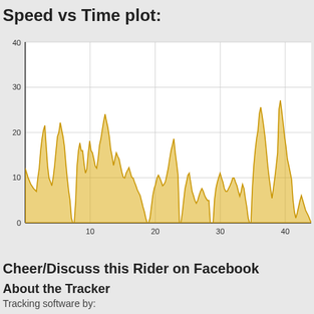Speed vs Time plot:
[Figure (continuous-plot): Area chart showing speed vs time. X-axis runs from 0 to 40+, Y-axis from 0 to 40. The filled area is golden/yellow, showing speed fluctuating mostly between 10-20, with notable peaks around 28 near x=8, ~23 near x=14, ~18 at various points, and peaks of ~26 and ~27 near x=38-40. Several drops to 0 occur around x=17, x=25, x=29, x=36.]
Cheer/Discuss this Rider on Facebook
About the Tracker
Tracking software by: